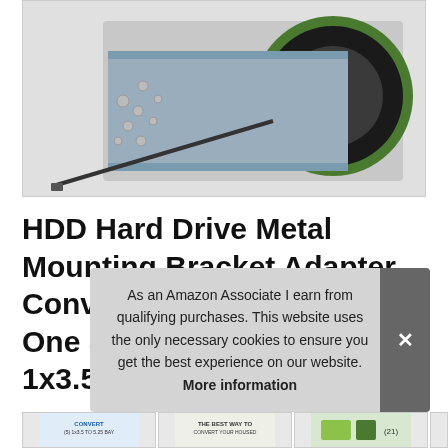[Figure (photo): HDD Hard Drive Metal Mounting Bracket Adapter product photo showing a 3.5 inch HDD mounted in a metal bracket with screws scattered nearby]
HDD Hard Drive Metal Mounting Bracket Adapter, Convert Any 3.5 in HDD Into One 5.25 in Drive Bay〜1x3.5 to 5.25 in〜
#ad
As an Amazon Associate I earn from qualifying purchases. This website uses the only necessary cookies to ensure you get the best experience on our website. More information